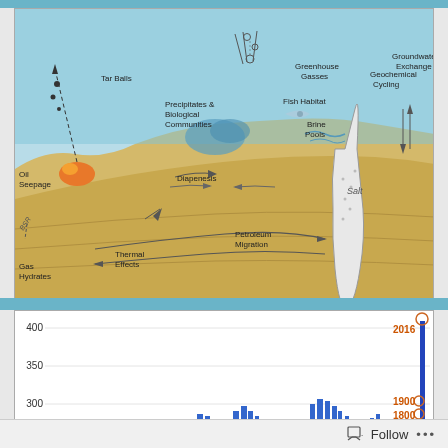[Figure (schematic): Cross-section geological/oceanographic diagram showing underwater seepage features: Oil Seepage, Tar Balls, Greenhouse Gasses, Precipitates & Biological Communities, Fish Habitat, Geochemical Cycling, Brine Pools, Groundwater Exchange, Gas Hydrates, BSR, Thermal Effects, Diapenesis, Petroleum Migration, Salt dome]
[Figure (continuous-plot): Line/bar chart showing CO2 concentration in parts per million over geological time. Y-axis shows values from ~250 to 400 ppm. Key annotations: 2016 at ~403 ppm (orange circle), 1900 at ~300 ppm (orange circle), 1800 at ~280 ppm (orange circle). Chart shows historical variation with recent sharp rise.]
Follow ...